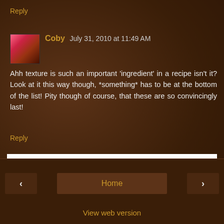Reply
Coby July 31, 2010 at 11:49 AM
Ahh texture is such an important 'ingredient' in a recipe isn't it? Look at it this way though, *something* has to be at the bottom of the list! Pity though of course, that these are so convincingly last!
Reply
To leave a comment, click the button below to sign in with Google.
SIGN IN WITH GOOGLE
< Home > View web version